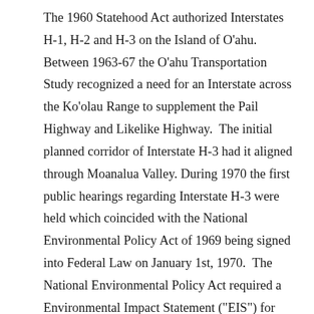The 1960 Statehood Act authorized Interstates H-1, H-2 and H-3 on the Island of O'ahu. Between 1963-67 the O'ahu Transportation Study recognized a need for an Interstate across the Ko'olau Range to supplement the Pail Highway and Likelike Highway. The initial planned corridor of Interstate H-3 had it aligned through Moanalua Valley. During 1970 the first public hearings regarding Interstate H-3 were held which coincided with the National Environmental Policy Act of 1969 being signed into Federal Law on January 1st, 1970. The National Environmental Policy Act required a Environmental Impact Statement ("EIS") for the corridor of Interstate H-3. During 1972 a lawsuit led to a Federal District Court injunction halting construction of Interstate H-3 between the Halekou Interchange and Halawa Interchange. Work on Interstate H-3 was ultimately allowed to continue on the Halawa